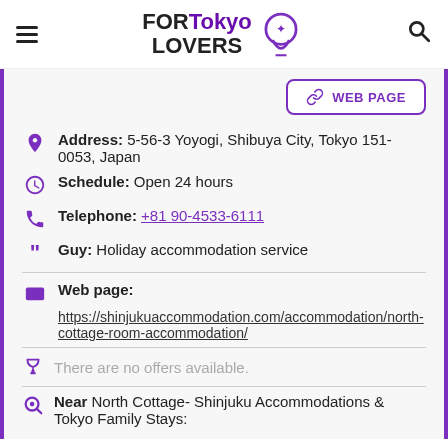FOR Tokyo LOVERS
WEB PAGE
Address: 5-56-3 Yoyogi, Shibuya City, Tokyo 151-0053, Japan
Schedule: Open 24 hours
Telephone: +81 90-4533-6111
Guy: Holiday accommodation service
Web page:
https://shinjukuaccommodation.com/accommodation/north-cottage-room-accommodation/
There are no offers available.
Near North Cottage- Shinjuku Accommodations & Tokyo Family Stays: